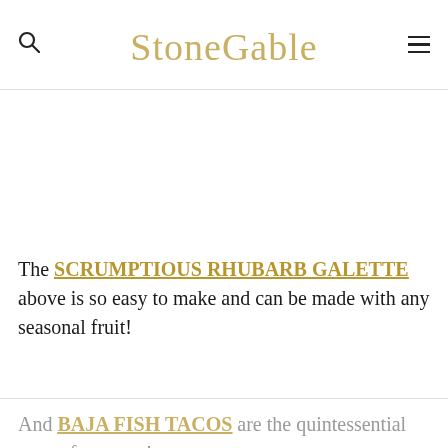StoneGable
The SCRUMPTIOUS RHUBARB GALETTE above is so easy to make and can be made with any seasonal fruit!
And BAJA FISH TACOS are the quintessential taste of summer!